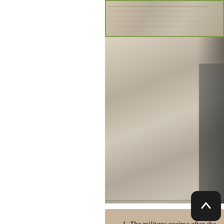[Figure (photo): Vintage black and white photograph visible at top right, showing what appears to be a building or outdoor scene. The left portion shows a sepia-toned image with horizontal lines. The right portion shows a figure or person in grayscale.]
1. The military regime after the 1962 coup M
3. In 1982, Muslims were
Restrictions on the movements of Muslims were imposed following B Rakhine entirely. A military regime that took power following a coup in 1 depict them as foreigners. They were removed from their posts in the Rakhine.
Muslims, to whom Rakhine actually belongs, have been living